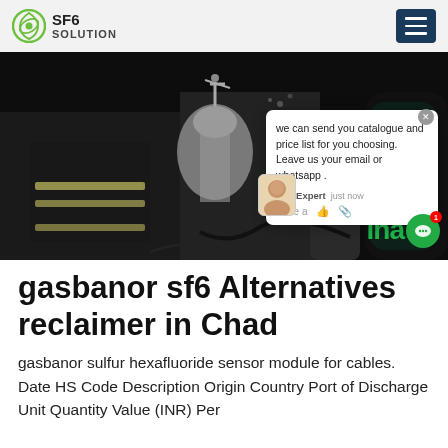SF6 SOLUTION
[Figure (photo): Industrial SF6 gas equipment scene in dark setting with cylinders and worker in reflective gear; chat popup overlay visible]
gasbanor sf6 Alternatives reclaimer in Chad
gasbanor sulfur hexafluoride sensor module for cables. Date HS Code Description Origin Country Port of Discharge Unit Quantity Value (INR) Per